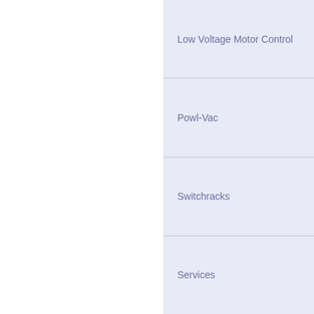Low Voltage Motor Control
Powl-Vac
Switchracks
Services